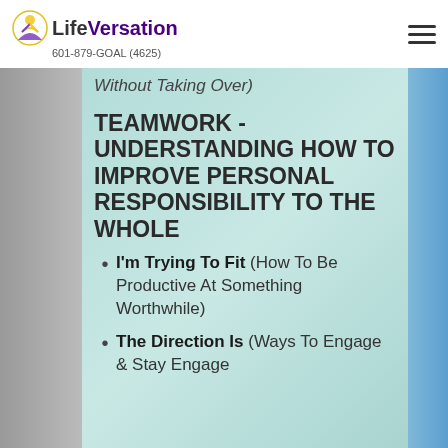LifeVersation 601-879-GOAL (4625)
Without Taking Over)
TEAMWORK - UNDERSTANDING HOW TO IMPROVE PERSONAL RESPONSIBILITY TO THE WHOLE
I'm Trying To Fit (How To Be Productive At Something Worthwhile)
The Direction Is (Ways To Engage & Stay Engage